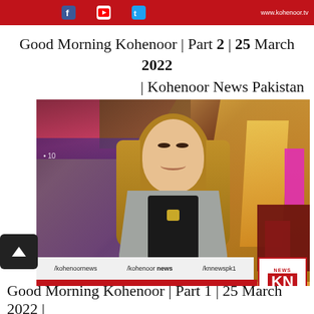[Figure (screenshot): Top red banner with social media icons (Facebook, YouTube, Twitter) and www.kohenoor.tv website text]
Good Morning Kohenoor | Part 2 | 25 March 2022 | Kohenoor News Pakistan
[Figure (screenshot): Video thumbnail of a female news anchor in a studio setting for Kohenoor News Pakistan, with lower third showing /kohenoornews, /kohenoor news, /knnewspk1 social handles and KN News logo, red banner with social icons and www.kohenoor.tv]
Good Morning Kohenoor | Part 1 | 25 March 2022 |